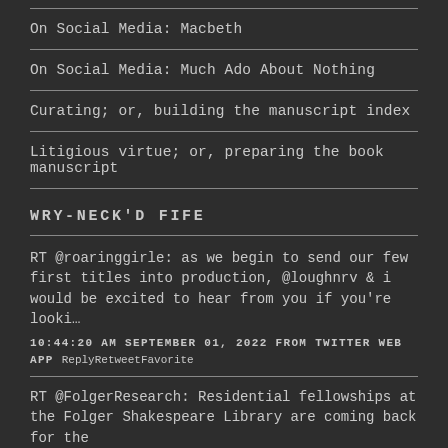On Social Media: Macbeth
On Social Media: Much Ado About Nothing
Curating; or, building the manuscript index
Litigious virtue; or, preparing the book manuscript
WRY-NECK'D FIFE
RT @roaringgirle: as we begin to send our few first titles into production, @loughnrv & i would be excited to hear from you if you're looki…
10:44:20 AM SEPTEMBER 01, 2022 FROM TWITTER WEB APP ReplyRetweetFavorite
RT @FolgerResearch: Residential fellowships at the Folger Shakespeare Library are coming back for the